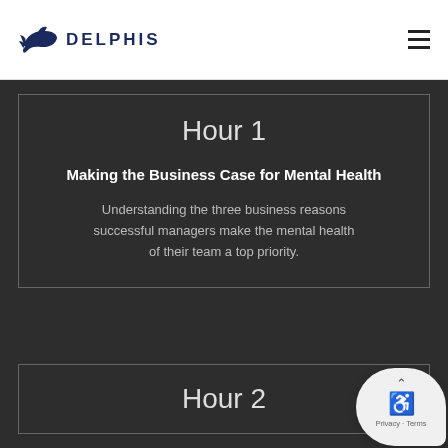DELPHIS
Hour 1
Making the Business Case for Mental Health
Understanding the three business reasons successful managers make the mental health of their team a top priority.
Hour 2